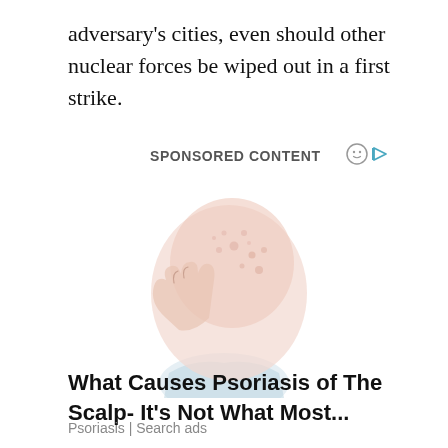adversary’s cities, even should other nuclear forces be wiped out in a first strike.
SPONSORED CONTENT
[Figure (illustration): Illustration of a person from behind showing the back of their head and scalp, with spots/dots indicating psoriasis on the scalp. The figure has a light pink scalp and light blue shirt collar visible.]
What Causes Psoriasis of The Scalp- It’s Not What Most...
Psoriasis | Search ads